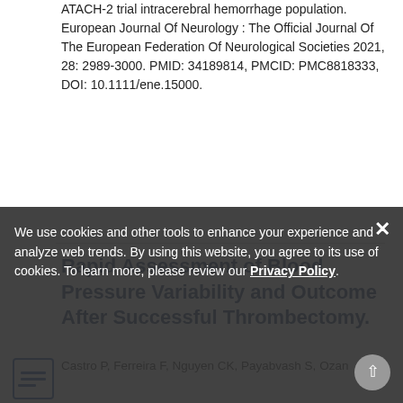ATACH-2 trial intracerebral hemorrhage population. European Journal Of Neurology : The Official Journal Of The European Federation Of Neurological Societies 2021, 28: 2989-3000. PMID: 34189814, PMCID: PMC8818333, DOI: 10.1111/ene.15000.
Rapid Assessment of Blood Pressure Variability and Outcome After Successful Thrombectomy.
Castro P, Ferreira F, Nguyen CK, Payabvash S, Ozan
We use cookies and other tools to enhance your experience and analyze web trends. By using this website, you agree to its use of cookies. To learn more, please review our Privacy Policy.